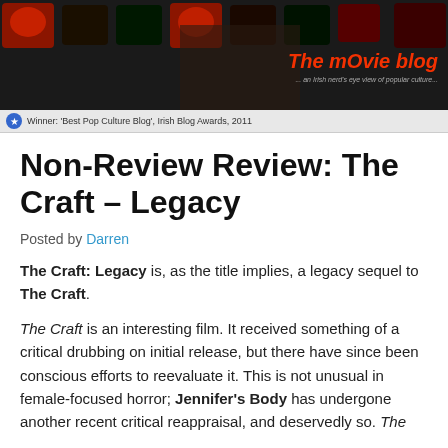[Figure (photo): The Movie Blog website header banner with dark background, stage lights in red and dark tones, a woman in the center, and the blog title 'The mOvie blog' in red italic text on the right side with subtitle '...an Irish nerd's eye view of popular culture...']
Winner: 'Best Pop Culture Blog', Irish Blog Awards, 2011
Non-Review Review: The Craft – Legacy
Posted by Darren
The Craft: Legacy is, as the title implies, a legacy sequel to The Craft.
The Craft is an interesting film. It received something of a critical drubbing on initial release, but there have since been conscious efforts to reevaluate it. This is not unusual in female-focused horror; Jennifer's Body has undergone another recent critical reappraisal, and deservedly so. The